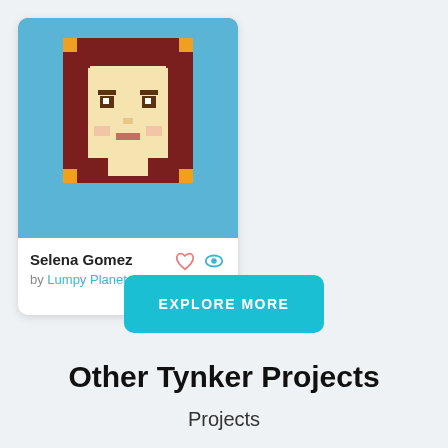[Figure (illustration): Pixel art portrait of Selena Gomez on a blue background, shown as a card component with a white lower section]
Selena Gomez
by Lumpy Planet
0  126.4k
EXPLORE MORE
Other Tynker Projects
Projects